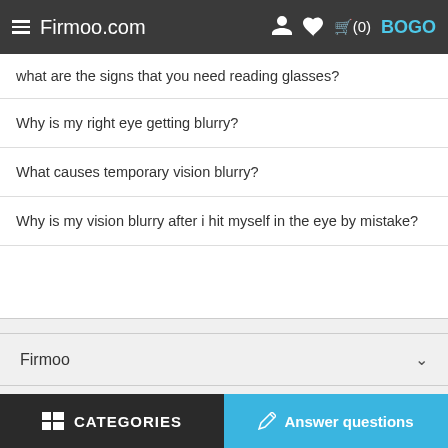Firmoo.com
what are the signs that you need reading glasses?
Why is my right eye getting blurry?
What causes temporary vision blurry?
Why is my vision blurry after i hit myself in the eye by mistake?
Firmoo
Additional Resources
CATEGORIES   Answer questions